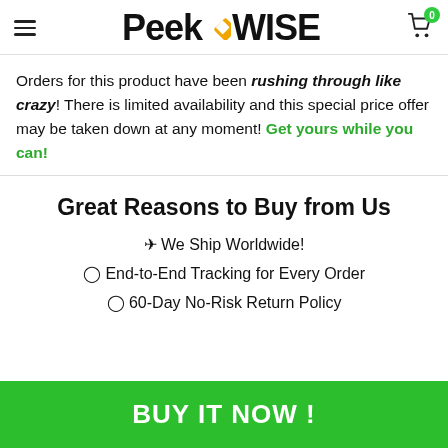PeekWise
Orders for this product have been rushing through like crazy! There is limited availability and this special price offer may be taken down at any moment! Get yours while you can!
Great Reasons to Buy from Us
✈ We Ship Worldwide!
◉ End-to-End Tracking for Every Order
◉ 60-Day No-Risk Return Policy
BUY IT NOW !